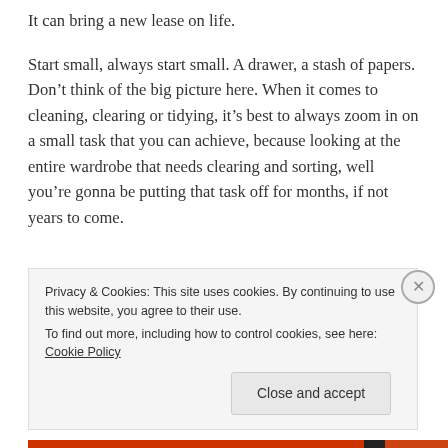It can bring a new lease on life.
Start small, always start small. A drawer, a stash of papers. Don’t think of the big picture here. When it comes to cleaning, clearing or tidying, it’s best to always zoom in on a small task that you can achieve, because looking at the entire wardrobe that needs clearing and sorting, well you’re gonna be putting that task off for months, if not years to come.
Privacy & Cookies: This site uses cookies. By continuing to use this website, you agree to their use.
To find out more, including how to control cookies, see here: Cookie Policy
Close and accept